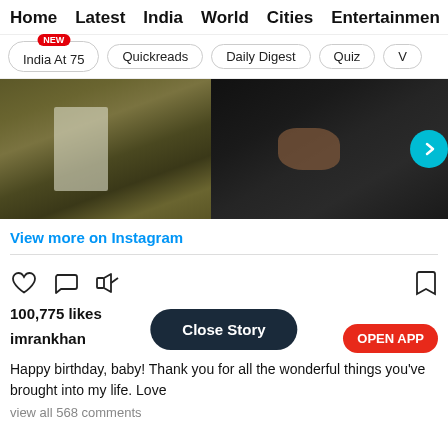Home  Latest  India  World  Cities  Entertainmen
India At 75 [NEW]
Quickreads
Daily Digest
Quiz
[Figure (photo): Instagram embedded post image showing two people, one in an olive/khaki jacket and another in a black leather jacket]
View more on Instagram
100,775 likes
imrankhan
Happy birthday, baby! Thank you for all the wonderful things you've brought into my life. Love
view all 568 comments
Close Story